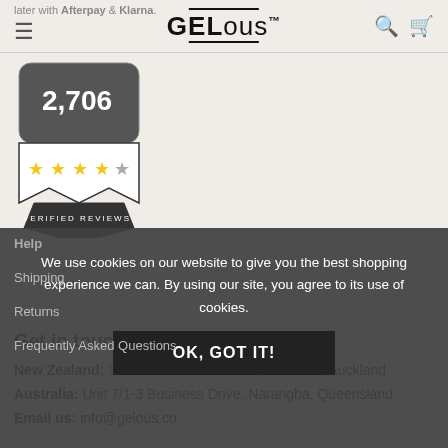later with Afterpay & Klarna.
[Figure (logo): GELous brand logo with double underlines]
[Figure (infographic): Review badge showing 2,706 verified reviews with 4 gold stars]
Get in touch
New Zealand: 34B Constellation Drive, Rosedale, Auckland
Australia: Unit 7/1-3 Business Drive, Narangba, Queensland
Email us: info@gelous.co
Help
Shipping
Returns
Frequently Asked Questions
We use cookies on our website to give you the best shopping experience we can. By using our site, you agree to its use of cookies.